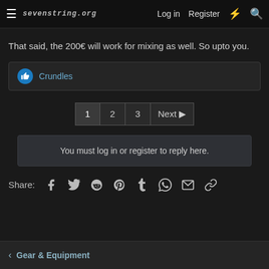sevenstring.org  Log in  Register
That said, the 200€ will work for mixing as well. So upto you.
👍 Crundles
1  2  3  Next ▶
You must log in or register to reply here.
Share: Facebook Twitter Reddit Pinterest Tumblr WhatsApp Email Link
< Gear & Equipment